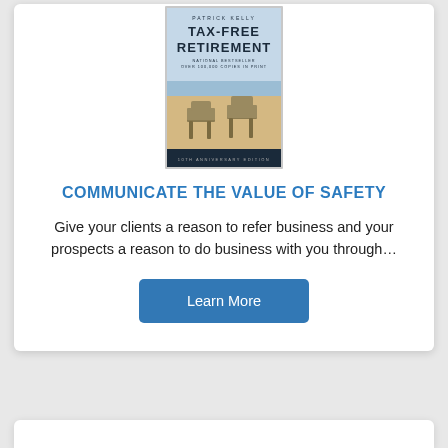[Figure (photo): Book cover of 'Tax-Free Retirement' by Patrick Kelly. National Bestseller Over 100,000 Copies in Print. 10th Anniversary Edition. Shows two Adirondack chairs on a beach.]
COMMUNICATE THE VALUE OF SAFETY
Give your clients a reason to refer business and your prospects a reason to do business with you through…
Learn More